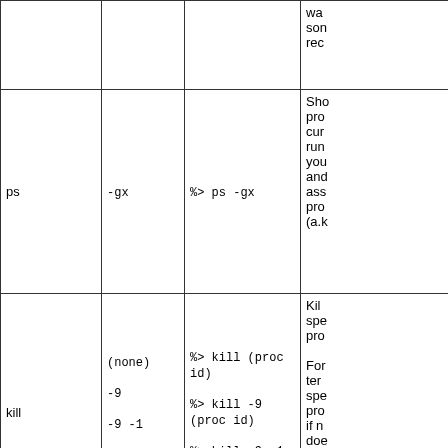| Command | Options | Example | Description |
| --- | --- | --- | --- |
|  |  |  | wa...
som...
rec... |
| ps | -gx | %> ps -gx | Sho...
pro...
cur...
run...
you...
and...
ass...
pro...
(a.k... |
| kill | (none)
-9
-9 -1 | %> kill (proc id)
%> kill -9 (proc id)
%> kill -9 -1 | Kil...
spe...
pro...

For...
ter...
spe...
pro...
if n...
doe...

For...all... |